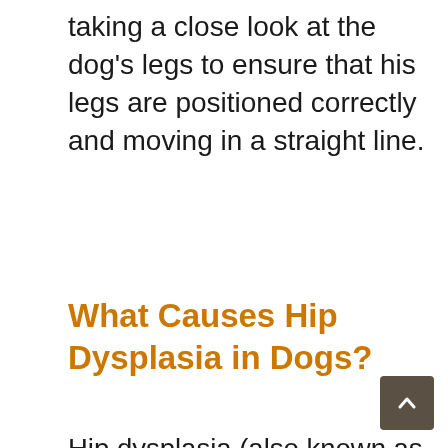taking a close look at the dog's legs to ensure that his legs are positioned correctly and moving in a straight line.
What Causes Hip Dysplasia in Dogs?
Hip dysplasia (also known as hip disease or crooked hip) is a debilitating condition affecting more than 60% of all dogs. The condition occurs when the hip joint develops abnormally. Depending on the severity, the signs and symptoms can